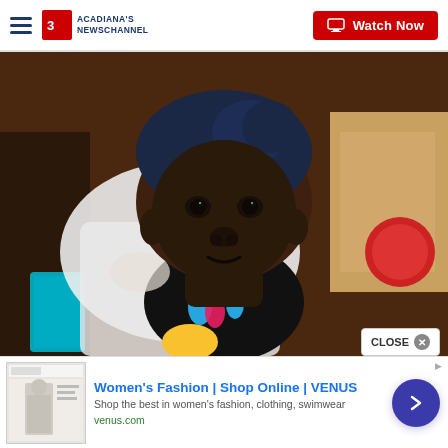Acadiana's Newschannel — Watch Now
[Figure (photo): A young child with a dark blue/navy head wrap, wearing a black shirt with colorful teardrop designs and wrapped in a white cloth, looking at the camera. Background shows other people and shelves. News website screenshot.]
CLOSE ×
[Figure (screenshot): Advertisement thumbnail showing a woman in fashion clothing]
Women's Fashion | Shop Online | VENUS
Shop the best in women's fashion, clothing, swimwear
venus.com